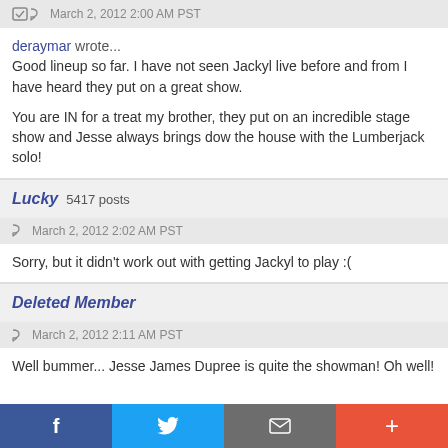March 2, 2012 2:00 AM PST
deraymar wrote... Good lineup so far. I have not seen Jackyl live before and from I have heard they put on a great show.

You are IN for a treat my brother, they put on an incredible stage show and Jesse always brings dow the house with the Lumberjack solo!
Lucky  5417 posts
March 2, 2012 2:02 AM PST
Sorry, but it didn't work out with getting Jackyl to play :(
Deleted Member
March 2, 2012 2:11 AM PST
Well bummer... Jesse James Dupree is quite the showman! Oh well!